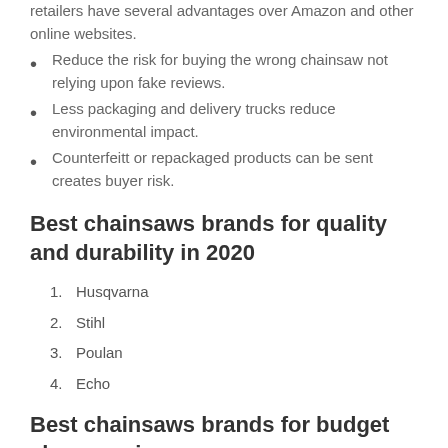retailers have several advantages over Amazon and other online websites.
Reduce the risk for buying the wrong chainsaw not relying upon fake reviews.
Less packaging and delivery trucks reduce environmental impact.
Counterfeitt or repackaged products can be sent creates buyer risk.
Best chainsaws brands for quality and durability in 2020
1. Husqvarna
2. Stihl
3. Poulan
4. Echo
Best chainsaws brands for budget shoppers in